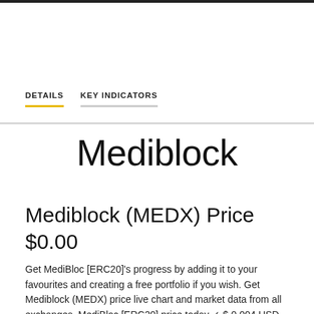DETAILS   KEY INDICATORS
Mediblock
Mediblock (MEDX) Price $0.00
Get MediBloc [ERC20]'s progress by adding it to your favourites and creating a free portfolio if you wish. Get Mediblock (MEDX) price live chart and market data from all exchanges. MediBloc [ERC20] price today ✓ $ 0.004 USD (-2.21 %) MediBloc [ERC20] historical data, chart, market